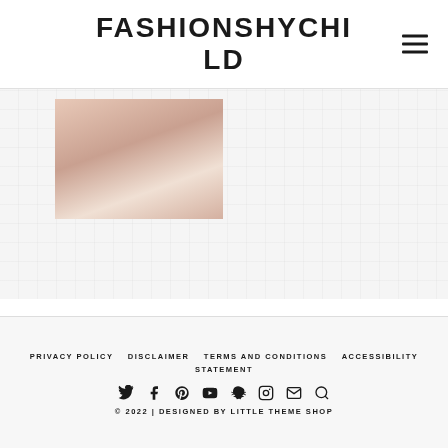FASHIONSHYCHILD
[Figure (photo): Partial photo of a woman with reddish-brown hair wearing white, against a light background]
PRIVACY POLICY   DISCLAIMER   TERMS AND CONDITIONS   ACCESSIBILITY STATEMENT
© 2022 | DESIGNED BY LITTLE THEME SHOP